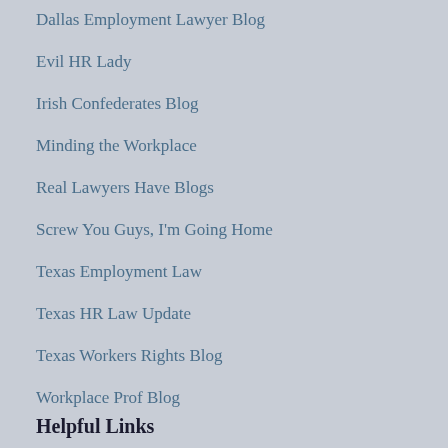Dallas Employment Lawyer Blog
Evil HR Lady
Irish Confederates Blog
Minding the Workplace
Real Lawyers Have Blogs
Screw You Guys, I'm Going Home
Texas Employment Law
Texas HR Law Update
Texas Workers Rights Blog
Workplace Prof Blog
Helpful Links